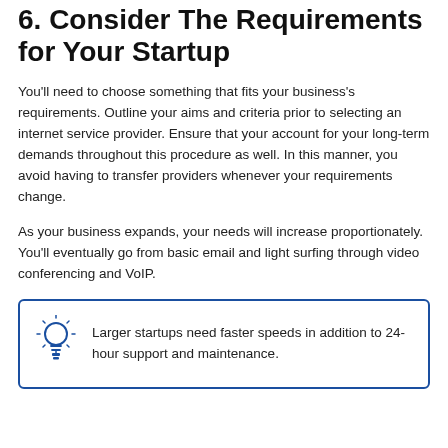6. Consider The Requirements for Your Startup
You'll need to choose something that fits your business's requirements. Outline your aims and criteria prior to selecting an internet service provider. Ensure that your account for your long-term demands throughout this procedure as well. In this manner, you avoid having to transfer providers whenever your requirements change.
As your business expands, your needs will increase proportionately. You'll eventually go from basic email and light surfing through video conferencing and VoIP.
Larger startups need faster speeds in addition to 24-hour support and maintenance.